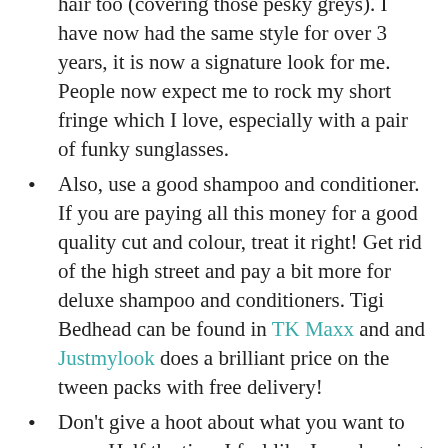hair too (covering those pesky greys). I have now had the same style for over 3 years, it is now a signature look for me. People now expect me to rock my short fringe which I love, especially with a pair of funky sunglasses.
Also, use a good shampoo and conditioner. If you are paying all this money for a good quality cut and colour, treat it right! Get rid of the high street and pay a bit more for deluxe shampoo and conditioners. Tigi Bedhead can be found in TK Maxx and and Justmylook does a brilliant price on the tween packs with free delivery!
Don't give a hoot about what you want to wear. Half the time I feel like I am dressing like a five-year-old, and I really don't care. I have to stop myself sometimes buying something, just because it's "cool" and it's not me. I am a 33-year-